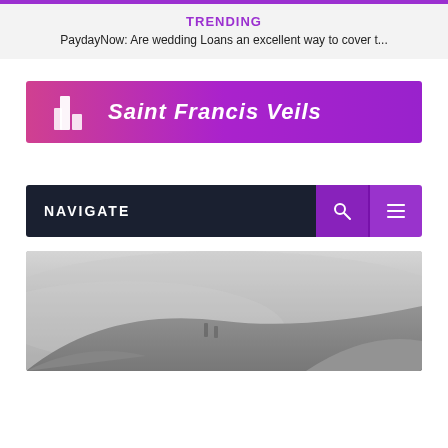TRENDING
PaydayNow: Are wedding Loans an excellent way to cover t...
[Figure (logo): Saint Francis Veils logo banner with gradient purple/pink background, building icon, and italic white text]
NAVIGATE
[Figure (photo): Misty foggy landscape with two silhouetted figures on a hill]